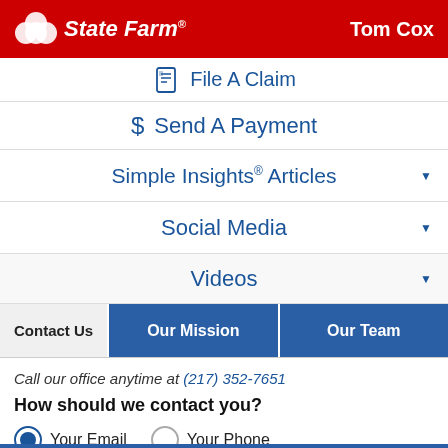State Farm® — Tom Cox
File A Claim
Send A Payment
Simple Insights® Articles
Social Media
Videos
Contact Us | Our Mission | Our Team
Call our office anytime at (217) 352-7651
How should we contact you?
Your Email (selected) | Your Phone